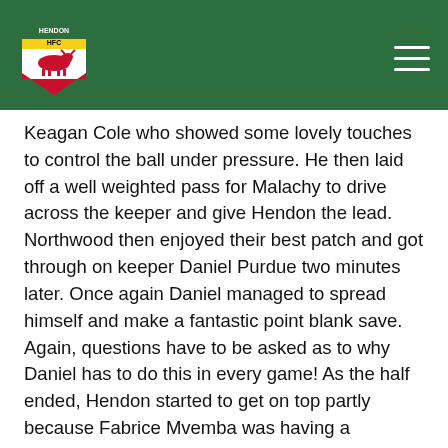Hendon FC logo and navigation
Keagan Cole who showed some lovely touches to control the ball under pressure. He then laid off a well weighted pass for Malachy to drive across the keeper and give Hendon the lead. Northwood then enjoyed their best patch and got through on keeper Daniel Purdue two minutes later. Once again Daniel managed to spread himself and make a fantastic point blank save. Again, questions have to be asked as to why Daniel has to do this in every game! As the half ended, Hendon started to get on top partly because Fabrice Mvemba was having a storming game as the holding mid-fielder while Keagan was also using his experience to hold possession and co-ordinate Hendon's attacking play. One of these attacks led to a free kick on the edge of the box. Malachy bent it neatly around the wall but the Northwood keeper made an excellent save. The